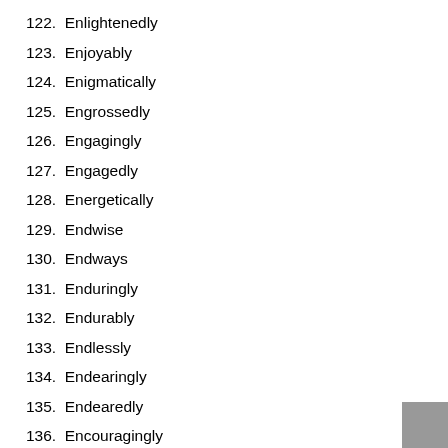122. Enlightenedly
123. Enjoyably
124. Enigmatically
125. Engrossedly
126. Engagingly
127. Engagedly
128. Energetically
129. Endwise
130. Endways
131. Enduringly
132. Endurably
133. Endlessly
134. Endearingly
135. Endearedly
136. Encouragingly
137. Encouragedly
138. Encompassingly